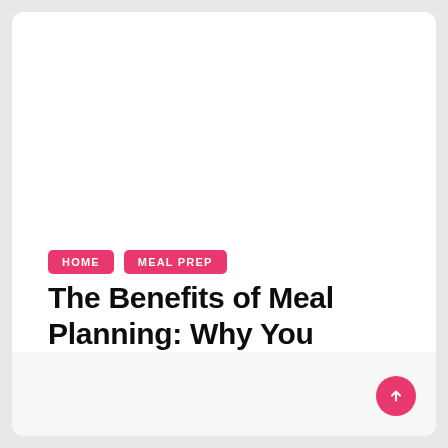HOME  MEAL PREP
The Benefits of Meal Planning: Why You Should Consider Meal Prep